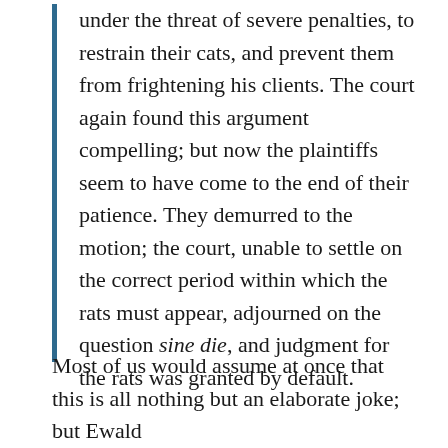under the threat of severe penalties, to restrain their cats, and prevent them from frightening his clients. The court again found this argument compelling; but now the plaintiffs seem to have come to the end of their patience. They demurred to the motion; the court, unable to settle on the correct period within which the rats must appear, adjourned on the question sine die, and judgment for the rats was granted by default.
Most of us would assume at once that this is all nothing but an elaborate joke; but Ewald